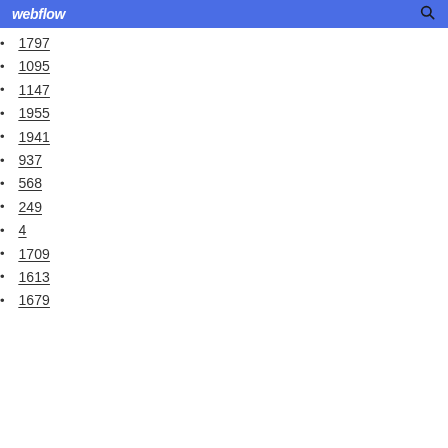webflow
1797
1095
1147
1955
1941
937
568
249
4
1709
1613
1679